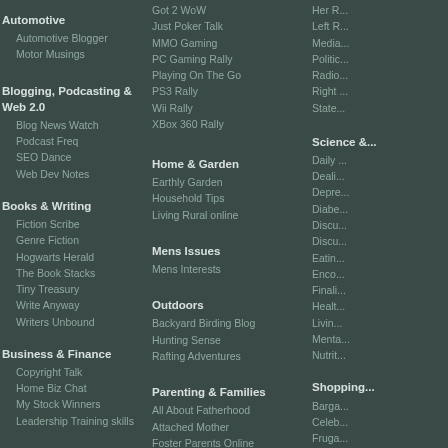Automotive
Automotive Blogger
Motor Musings
Blogging, Podcasting & Web 2.0
Blog News Watch
Podcast Freq
SEO Dance
Web Dev Notes
Books & Writing
Fiction Scribe
Genre Fiction
Hogwarts Herald
The Book Stacks
Tiny Treasury
Write Anyway
Writers Unbound
Business & Finance
Copyright Talk
Home Biz Chat
My Stock Winners
Leadership Training skills
Celebrities
Angelina Jolie
Brad Pitt
Got 2 WoW
Just Poker Talk
MMO Gaming
PC Gaming Rally
Playing On The Go
PS3 Rally
Wii Rally
XBox 360 Rally
Home & Garden
Earthly Garden
Household Tips
Living Rural online
Mens Issues
Mens Interests
Outdoors
Backyard Birding Blog
Hunting Sense
Rafting Adventures
Parenting & Families
All About Fatherhood
Attached Mother
Foster Parents Online
Mom Is Teaching
Mom's Soapbox
Her ...
Left R...
Media...
Politic...
Radio...
Right ...
State...
Science &...
Daily ...
Deali...
Depre...
Diabe...
Discu...
Discu...
Eatin...
Enco...
Finali...
Healt...
Livin...
Menta...
Nutrit...
Shopping...
Barga...
Celeb...
Fruga...
Hot d...